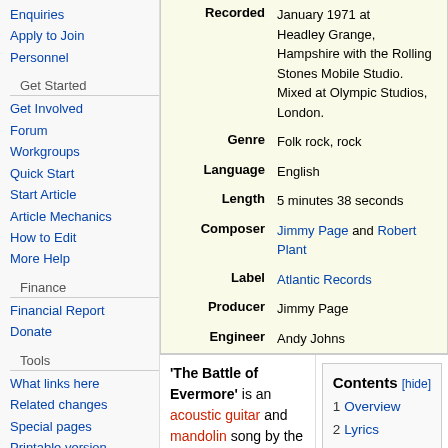Enquiries
Apply to Join
Personnel
Get Started
Get Involved
Forum
Workgroups
Quick Start
Start Article
Article Mechanics
How to Edit
More Help
Finance
Financial Report
Donate
Tools
What links here
Related changes
Special pages
Printable version
| Field | Value |
| --- | --- |
| Recorded | January 1971 at Headley Grange, Hampshire with the Rolling Stones Mobile Studio. Mixed at Olympic Studios, London. |
| Genre | Folk rock, rock |
| Language | English |
| Length | 5 minutes 38 seconds |
| Composer | Jimmy Page and Robert Plant |
| Label | Atlantic Records |
| Producer | Jimmy Page |
| Engineer | Andy Johns |
'The Battle of Evermore' is an acoustic guitar and mandolin song by the English rock band Led Zeppelin, featured on their untitled fourth
| Contents |
| --- |
| 1 Overview |
| 2 Lyrics |
| 3 Live versions |
| 4 Accolades |
| 5 Credits |
| 6 References |